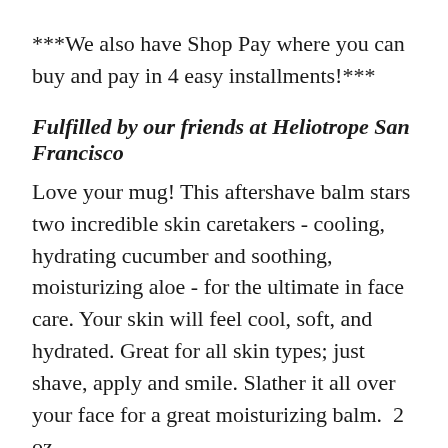***We also have Shop Pay where you can buy and pay in 4 easy installments!***
Fulfilled by our friends at Heliotrope San Francisco
Love your mug! This aftershave balm stars two incredible skin caretakers - cooling, hydrating cucumber and soothing, moisturizing aloe - for the ultimate in face care. Your skin will feel cool, soft, and hydrated. Great for all skin types; just shave, apply and smile. Slather it all over your face for a great moisturizing balm.  2 oz.
aloe calms, cucumber naturally heals and cools the skin
soothing & moisturizing